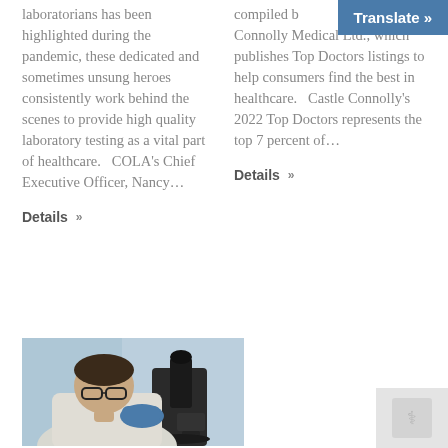laboratorians has been highlighted during the pandemic, these dedicated and sometimes unsung heroes consistently work behind the scenes to provide high quality laboratory testing as a vital part of healthcare.  COLA's Chief Executive Officer, Nancy...
Details »
compiled b... Connolly Medical Ltd., which publishes Top Doctors listings to help consumers find the best in healthcare.   Castle Connolly's 2022 Top Doctors represents the top 7 percent of...
Details »
[Figure (photo): A woman in a white lab coat and blue gloves looking through a microscope in a laboratory setting]